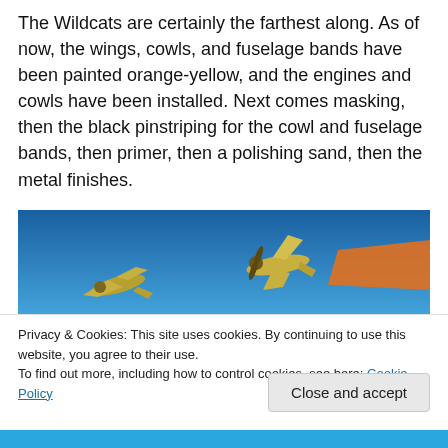The Wildcats are certainly the farthest along. As of now, the wings, cowls, and fuselage bands have been painted orange-yellow, and the engines and cowls have been installed. Next comes masking, then the black pinstriping for the cowl and fuselage bands, then primer, then a polishing sand, then the metal finishes.
[Figure (photo): Photo of small model aircraft (Wildcats) painted orange-yellow on a blue background, partially cropped at bottom.]
Privacy & Cookies: This site uses cookies. By continuing to use this website, you agree to their use.
To find out more, including how to control cookies, see here: Cookie Policy